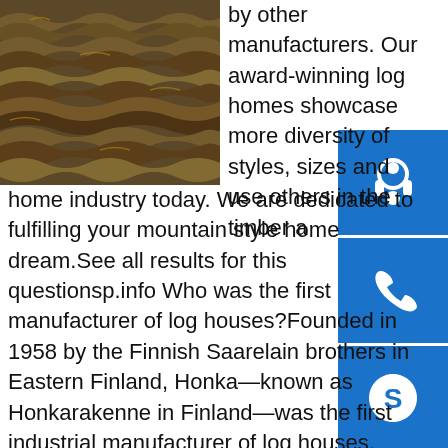[Figure (photo): Close-up photo of stacked textured logs or wood with intricate carved/natural patterns, dark brown tones.]
by other manufacturers. Our award-winning log homes showcase more diversity of styles, sizes and use others in the timber and home industry today. We are dedicated to fulfilling your mountain style home dream. See all results for this questionsp.info Who was the first manufacturer of log houses? Founded in 1958 by the Finnish Saarelain brothers in Eastern Finland, Honka—known as Honkarakenne in Finland—was the first industrial manufacturer of log houses. Today, the pioneer brand built almost 85,000 houses across the globe, including a quaint Scottish retreat for the Queen of England in 1969. See all results for this questionsp.info Clearance Outdoor 2021: Exclusive Deals & Limited ...Shop for Clearance Outdoor 2021 discounts at Crate & Barrel. Find exclusive deals & limited-time offers, as well as clearance sales. Select products also offer free shipping. No promo